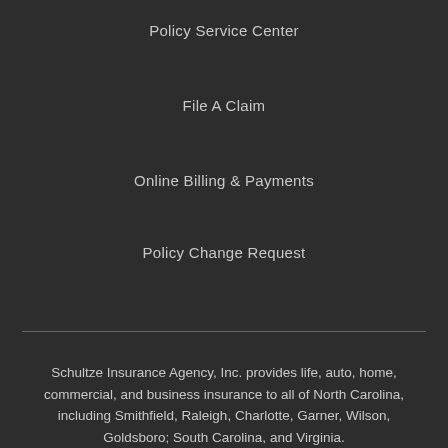Policy Service Center
File A Claim
Online Billing & Payments
Policy Change Request
Schultze Insurance Agency, Inc. provides life, auto, home, commercial, and business insurance to all of North Carolina, including Smithfield, Raleigh, Charlotte, Garner, Wilson, Goldsboro; South Carolina, and Virginia.